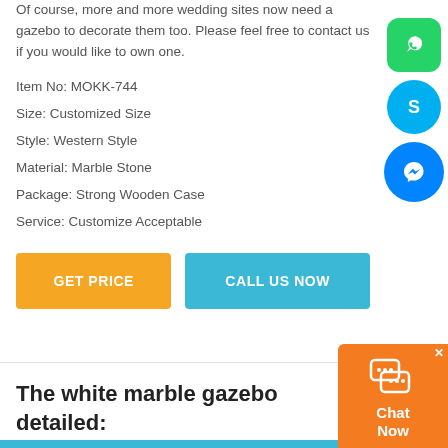Of course, more and more wedding sites now need a gazebo to decorate them too. Please feel free to contact us if you would like to own one.
Item No: MOKK-744
Size: Customized Size
Style: Western Style
Material: Marble Stone
Package: Strong Wooden Case
Service: Customize Acceptable
[Figure (other): Orange GET PRICE button and teal CALL US NOW button]
[Figure (other): Social media icons on right side: WhatsApp (green), Skype (blue), Messenger (blue)]
[Figure (other): Orange chat widget with chat icon and text 'Chat Now']
The white marble gazebo detailed: